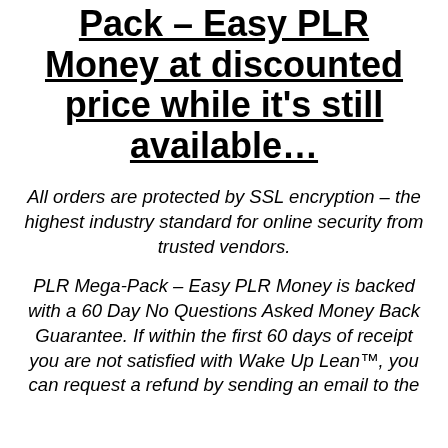Pack – Easy PLR Money at discounted price while it's still available…
All orders are protected by SSL encryption – the highest industry standard for online security from trusted vendors.
PLR Mega-Pack – Easy PLR Money is backed with a 60 Day No Questions Asked Money Back Guarantee. If within the first 60 days of receipt you are not satisfied with Wake Up Lean™, you can request a refund by sending an email to the